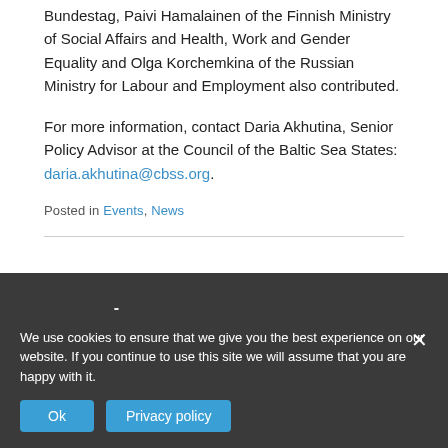Bundestag, Paivi Hamalainen of the Finnish Ministry of Social Affairs and Health, Work and Gender Equality and Olga Korchemkina of the Russian Ministry for Labour and Employment also contributed.
For more information, contact Daria Akhutina, Senior Policy Advisor at the Council of the Baltic Sea States: daria.akhutina@cbss.org.
Posted in Events, News
Meeting
Posted on June ...
We use cookies to ensure that we give you the best experience on our website. If you continue to use this site we will assume that you are happy with it.